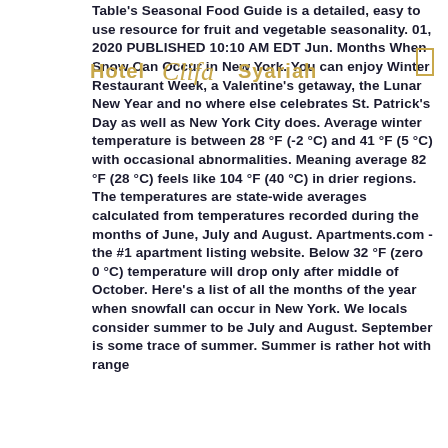[Figure (logo): Hotel Clifa Syariah watermark/logo overlaid on top of the text]
Table's Seasonal Food Guide is a detailed, easy to use resource for fruit and vegetable seasonality. 01, 2020 PUBLISHED 10:10 AM EDT Jun. Months When Snow Can Occur in New York. You can enjoy Winter Restaurant Week, a Valentine's getaway, the Lunar New Year and no where else celebrates St. Patrick's Day as well as New York City does. Average winter temperature is between 28 °F (-2 °C) and 41 °F (5 °C) with occasional abnormalities. Meaning average 82 °F (28 °C) feels like 104 °F (40 °C) in drier regions. The temperatures are state-wide averages calculated from temperatures recorded during the months of June, July and August. Apartments.com - the #1 apartment listing website. Below 32 °F (zero 0 °C) temperature will drop only after middle of October. Here's a list of all the months of the year when snowfall can occur in New York. We locals consider summer to be July and August. September is some trace of summer. Summer is rather hot with range